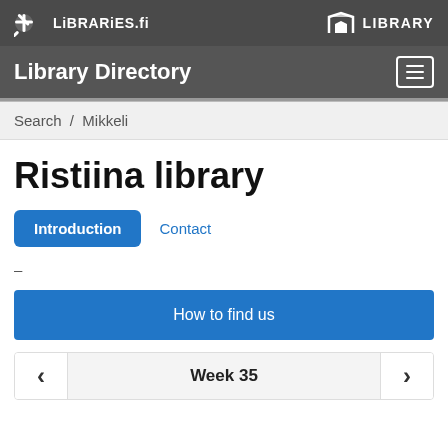libraries.fi | LIBRARY
Library Directory
Search / Mikkeli
Ristiina library
Introduction | Contact
-
How to find us
Week 35